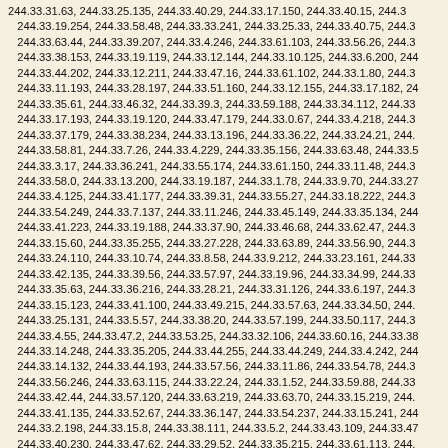244.33.31.63, 244.33.25.135, 244.33.40.29, 244.33.17.150, 244.33.40.15, 244.33.19.254, 244.33.58.48, 244.33.33.241, 244.33.25.33, 244.33.40.75, 244.33.63.44, 244.33.39.207, 244.33.4.246, 244.33.61.103, 244.33.56.26, 244.33.38.153, 244.33.19.119, 244.33.12.144, 244.33.10.125, 244.33.6.200, 244.33.44.202, 244.33.12.211, 244.33.47.16, 244.33.61.102, 244.33.1.80, 244.33.11.193, 244.33.28.197, 244.33.51.160, 244.33.12.155, 244.33.17.182, 244.33.35.61, 244.33.46.32, 244.33.39.3, 244.33.59.188, 244.33.34.112, 244.33.17.193, 244.33.19.120, 244.33.47.179, 244.33.0.67, 244.33.4.218, 244.33.37.179, 244.33.38.234, 244.33.13.196, 244.33.36.22, 244.33.24.21, 244.33.58.81, 244.33.7.26, 244.33.4.229, 244.33.35.156, 244.33.63.48, 244.33.3.17, 244.33.36.241, 244.33.55.174, 244.33.61.150, 244.33.11.48, 244.33.58.0, 244.33.13.200, 244.33.19.187, 244.33.1.78, 244.33.9.70, 244.33.27, 244.33.4.125, 244.33.41.177, 244.33.39.31, 244.33.55.27, 244.33.18.222, 244.33.54.249, 244.33.7.137, 244.33.11.246, 244.33.45.149, 244.33.35.134, 244.33.41.223, 244.33.19.188, 244.33.37.90, 244.33.46.68, 244.33.62.47, 244.33.15.60, 244.33.35.255, 244.33.27.228, 244.33.63.89, 244.33.56.90, 244.33.24.110, 244.33.10.74, 244.33.8.58, 244.33.9.212, 244.33.23.161, 244.33.42.135, 244.33.39.56, 244.33.57.97, 244.33.19.96, 244.33.34.99, 244.33.35.63, 244.33.36.216, 244.33.28.21, 244.33.31.126, 244.33.6.197, 244.33.15.123, 244.33.41.100, 244.33.49.215, 244.33.57.63, 244.33.34.50, 244.33.25.131, 244.33.5.57, 244.33.38.20, 244.33.57.199, 244.33.50.117, 244.33.4.55, 244.33.47.2, 244.33.53.25, 244.33.32.106, 244.33.60.16, 244.33.38, 244.33.14.248, 244.33.35.205, 244.33.44.255, 244.33.44.249, 244.33.4.242, 244.33.14.132, 244.33.44.193, 244.33.57.56, 244.33.11.86, 244.33.54.78, 244.33.56.246, 244.33.63.115, 244.33.22.24, 244.33.1.52, 244.33.59.88, 244.33.42.44, 244.33.57.120, 244.33.63.219, 244.33.63.70, 244.33.15.219, 244.33.41.135, 244.33.52.67, 244.33.36.147, 244.33.54.237, 244.33.15.241, 244.33.2.198, 244.33.15.8, 244.33.38.111, 244.33.5.2, 244.33.43.109, 244.33.47, 244.33.40.230, 244.33.47.62, 244.33.29.52, 244.33.35.215, 244.33.61.113, 244.33.36.204, 244.33.16.181, 244.33.58.159, 244.33.20.73, 244.33.54.69, 244.33.51.216, 244.33.3.133, 244.33.43.14, 244.33.38.137, 244.33.61.49, 244.33.45.142, 244.33.10.111, 244.33.44.56, 244.33.2.252, 244.33.30.118, 244.33.19.199, 244.33.22.144, 244.33.26.241, 244.33.21.151, 244.33.19.0